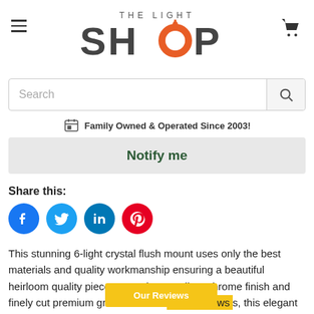[Figure (logo): The Light Shop logo with 'THE LIGHT' above and large 'SHOP' text with an orange pendant light icon replacing the O]
[Figure (other): Search bar with search icon on the right]
Family Owned & Operated Since 2003!
[Figure (other): Notify me button in light grey]
Share this:
[Figure (other): Social media icons: Facebook, Twitter, LinkedIn, Pinterest]
This stunning 6-light crystal flush mount uses only the best materials and quality workmanship ensuring a beautiful heirloom quality piece. Featuring a radiant chrome finish and finely cut premium grade 30% full [Our Reviews] s, this elegant ceiling light will give any room s our. HSL Worldwide